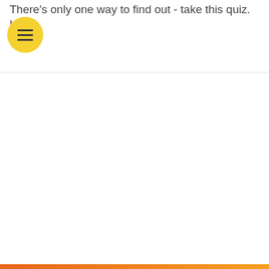There's only one way to find out - take this quiz. Have
[Figure (illustration): Yellow circular menu/hamburger icon with three horizontal dark lines]